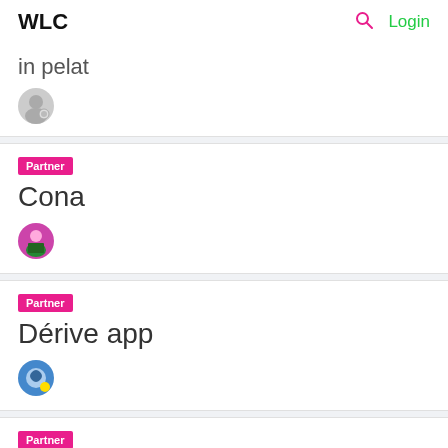WLC  🔍  Login
in pelat
Partner
Cona
Partner
Dérive app
Partner
Locatify